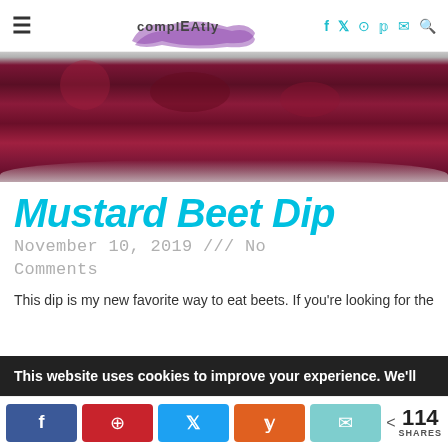compleATly — navigation bar with social icons
[Figure (photo): Close-up photo of dark reddish-purple mustard beet dip in a white bowl]
Mustard Beet Dip
November 10, 2019 /// No Comments
This dip is my new favorite way to eat beets. If you're looking for the
This website uses cookies to improve your experience. We'll
< 114 SHARES — share buttons: Facebook, Pinterest, Twitter, Yummly, Email